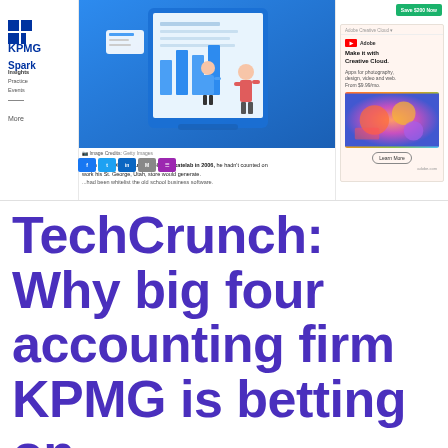[Figure (screenshot): Screenshot of a TechCrunch article webpage showing KPMG Spark logo on left sidebar, an illustration of two people working on a large digital tablet/screen in the center, and an Adobe Creative Cloud advertisement on the right. Social sharing buttons (Facebook, Twitter, LinkedIn, email, more) are visible as a purple bar. Article text beginning with 'When Zach Olsen founded SOHO Skatelab in 2006, he hadn't counted on...' is partially visible.]
TechCrunch: Why big four accounting firm KPMG is betting on